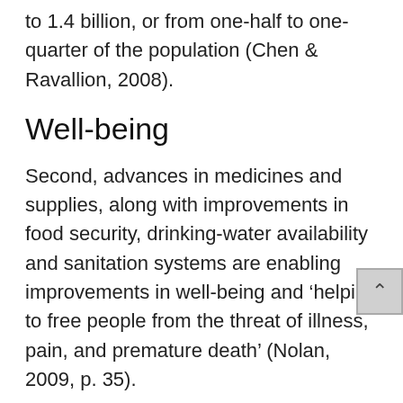to 1.4 billion, or from one-half to one-quarter of the population (Chen & Ravallion, 2008).
Well-being
Second, advances in medicines and supplies, along with improvements in food security, drinking-water availability and sanitation systems are enabling improvements in well-being and ‘helping to free people from the threat of illness, pain, and premature death’ (Nolan, 2009, p. 35).
In developing countries, life expectancy has risen; infant mortality rates have dropped; fertility rates have reduced. Food production has outpaced population growth; child